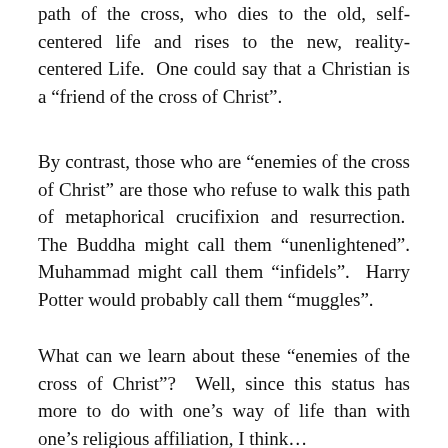path of the cross, who dies to the old, self-centered life and rises to the new, reality-centered Life. One could say that a Christian is a “friend of the cross of Christ”.
By contrast, those who are “enemies of the cross of Christ” are those who refuse to walk this path of metaphorical crucifixion and resurrection. The Buddha might call them “unenlightened”. Muhammad might call them “infidels”. Harry Potter would probably call them “muggles”.
What can we learn about these “enemies of the cross of Christ”? Well, since this status has more to do with one’s way of life than with one’s religious affiliation, I think we can say that they might belong to any...